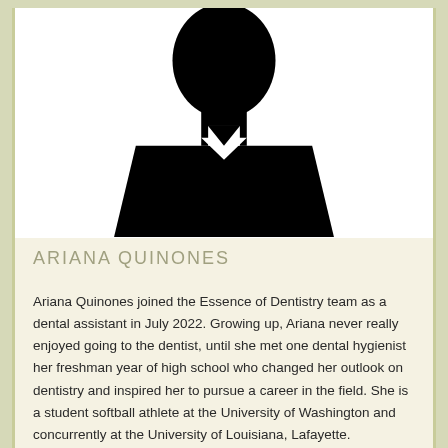[Figure (photo): Silhouette placeholder photo of a person (black profile/bust shape on white background)]
ARIANA QUINONES
Ariana Quinones joined the Essence of Dentistry team as a dental assistant in July 2022. Growing up, Ariana never really enjoyed going to the dentist, until she met one dental hygienist her freshman year of high school who changed her outlook on dentistry and inspired her to pursue a career in the field. She is a student softball athlete at the University of Washington and concurrently at the University of Louisiana, Lafayette.